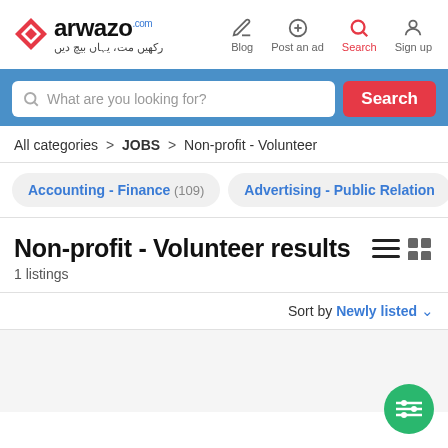Darwazo.com — Blog | Post an ad | Search | Sign up
What are you looking for? Search
All categories > JOBS > Non-profit - Volunteer
Accounting - Finance (109)
Advertising - Public Relations
Non-profit - Volunteer results
1 listings
Sort by Newly listed